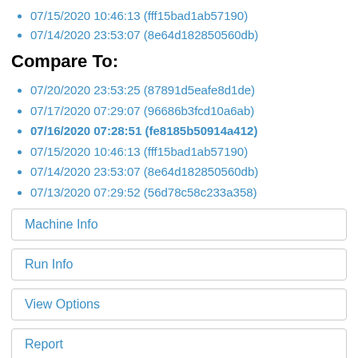07/15/2020 10:46:13 (fff15bad1ab57190)
07/14/2020 23:53:07 (8e64d182850560db)
Compare To:
07/20/2020 23:53:25 (87891d5eafe8d1de)
07/17/2020 07:29:07 (96686b3fcd10a6ab)
07/16/2020 07:28:51 (fe8185b50914a412) [selected/bold]
07/15/2020 10:46:13 (fff15bad1ab57190)
07/14/2020 23:53:07 (8e64d182850560db)
07/13/2020 07:29:52 (56d78c58c233a358)
Machine Info
Run Info
View Options
Report
Filter  Benchmark name regex...